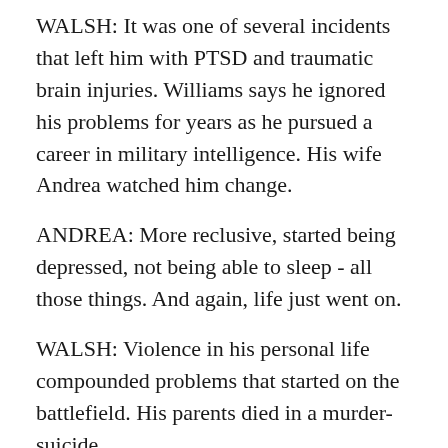WALSH: It was one of several incidents that left him with PTSD and traumatic brain injuries. Williams says he ignored his problems for years as he pursued a career in military intelligence. His wife Andrea watched him change.
ANDREA: More reclusive, started being depressed, not being able to sleep - all those things. And again, life just went on.
WALSH: Violence in his personal life compounded problems that started on the battlefield. His parents died in a murder-suicide.
WILLIAMS: I'll never forget that day. It was December 23. It was two days prior to Christmas.
WALSH: It was 2016. His parents were getting a divorce